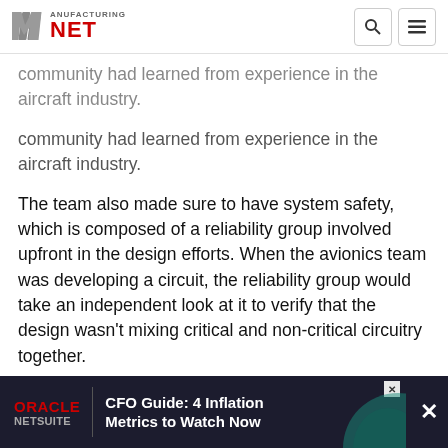Manufacturing.net
community had learned from experience in the aircraft industry.
The team also made sure to have system safety, which is composed of a reliability group involved upfront in the design efforts. When the avionics team was developing a circuit, the reliability group would take an independent look at it to verify that the design wasn't mixing critical and non-critical circuitry together.
"If there is any one message that I have for [design engineers], it's that involving safety and reliability early and often is a big benefit." According to Karner... significantly having safety and reliability
[Figure (other): Oracle NetSuite advertisement banner: CFO Guide: 4 Inflation Metrics to Watch Now]